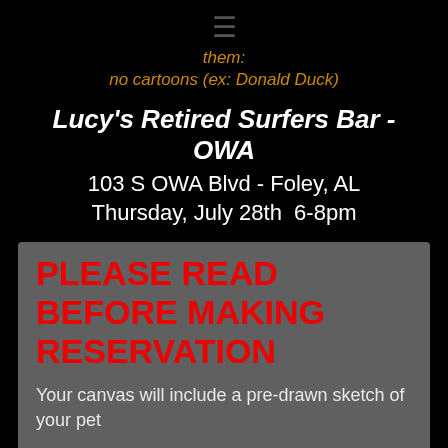☰
them:
no cartoons (ex: Donald Duck)
Lucy's Retired Surfers Bar - OWA
103 S OWA Blvd - Foley, AL
Thursday, July 28th  6-8pm
PLEASE READ BEFORE MAKING RESERVATION
Your canvas will include a pre-drawn sketch of your pet
One pet per bag
We suggest only one bag per person, due to time restraints